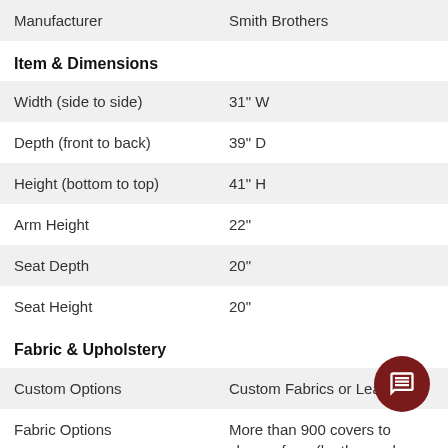| Manufacturer | Smith Brothers |
| Item & Dimensions |  |
| Width (side to side) | 31" W |
| Depth (front to back) | 39" D |
| Height (bottom to top) | 41" H |
| Arm Height | 22" |
| Seat Depth | 20" |
| Seat Height | 20" |
| Fabric & Upholstery |  |
| Custom Options | Custom Fabrics or Leathers |
| Fabric Options | More than 900 covers to choose from (leather and fabric). |
| Style Elements |  |